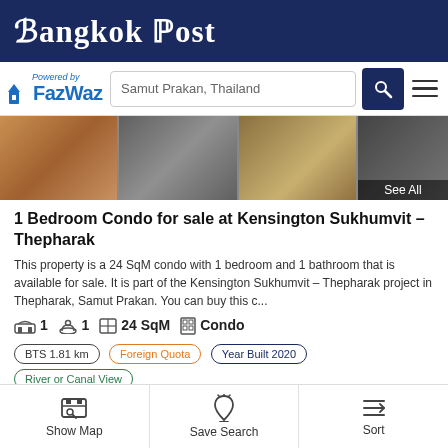Bangkok Post
[Figure (logo): FazWaz powered-by logo with search bar showing 'Samut Prakan, Thailand', search button, and hamburger menu]
[Figure (photo): Photo strip showing 3 interior condo photos (living room with leather sofa, bedroom/piano area, room with window view) with 'See All' overlay on the right]
1 Bedroom Condo for sale at Kensington Sukhumvit – Thepharak
This property is a 24 SqM condo with 1 bedroom and 1 bathroom that is available for sale. It is part of the Kensington Sukhumvit – Thepharak project in Thepharak, Samut Prakan. You can buy this c...
1  1  24 SqM  Condo
BTS 1.81 km
Foreign Quota
Year Built 2020
River or Canal View
City View
Fully Renovated
Balcony
Renovated Kitchen
Est. Rent: ฿9,000/mo | ROI: 4%
CAM Fee: ฿1,008/mo
Sinking Fund: ฿9,600
Show Map  Save Search  Sort